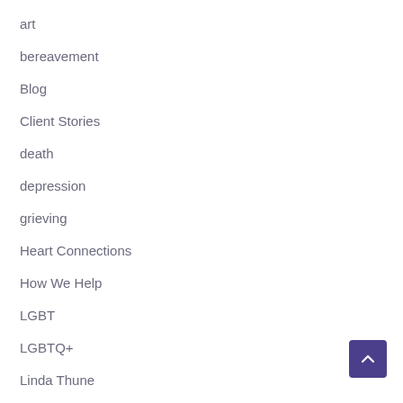art
bereavement
Blog
Client Stories
death
depression
grieving
Heart Connections
How We Help
LGBT
LGBTQ+
Linda Thune
loss
loss of a child